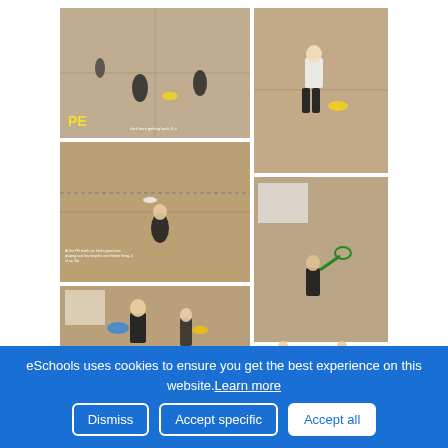[Figure (photo): A PicCollage of 6 photos showing students doing PE (badminton/frisbee activities) in a school gymnasium. Photos are arranged in a grid with 'PE' label and 'PIC COLLAGE' watermark visible.]
Computing: Media
eSchools uses cookies to ensure you get the best experience on this website. Learn more